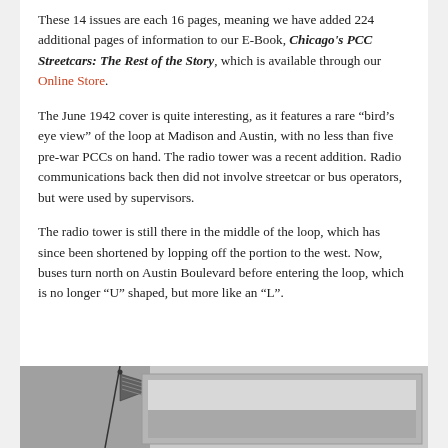These 14 issues are each 16 pages, meaning we have added 224 additional pages of information to our E-Book, Chicago's PCC Streetcars: The Rest of the Story, which is available through our Online Store.
The June 1942 cover is quite interesting, as it features a rare “bird’s eye view” of the loop at Madison and Austin, with no less than five pre-war PCCs on hand. The radio tower was a recent addition. Radio communications back then did not involve streetcar or bus operators, but were used by supervisors.
The radio tower is still there in the middle of the loop, which has since been shortened by lopping off the portion to the west. Now, buses turn north on Austin Boulevard before entering the loop, which is no longer “U” shaped, but more like an “L”.
[Figure (photo): Partial black and white photograph showing a flag on a pole at lower left, and a framed photo or scene to the right with a grey sky background.]